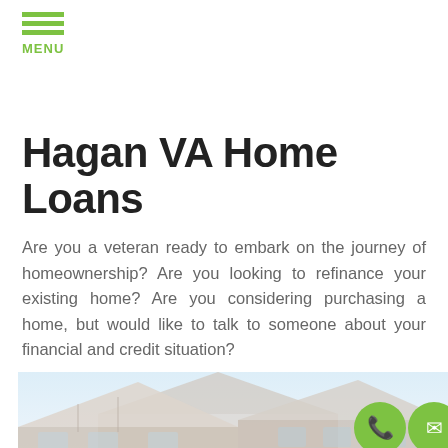MENU
Hagan VA Home Loans
Are you a veteran ready to embark on the journey of homeownership? Are you looking to refinance your existing home? Are you considering purchasing a home, but would like to talk to someone about your financial and credit situation?
[Figure (photo): Exterior photo of a suburban house with brick facade and gabled roof against a light blue sky background, shown with slight blur/fade effect. Two circular icon buttons overlay the bottom right: a green phone icon and a green email/envelope icon.]